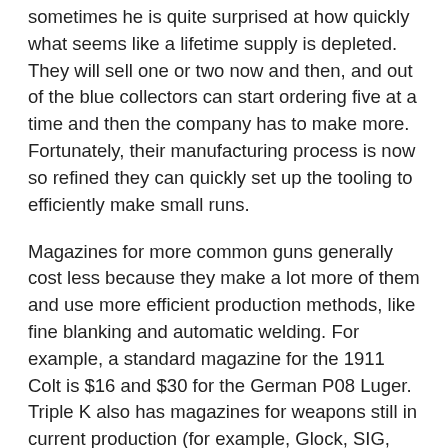sometimes he is quite surprised at how quickly what seems like a lifetime supply is depleted. They will sell one or two now and then, and out of the blue collectors can start ordering five at a time and then the company has to make more. Fortunately, their manufacturing process is now so refined they can quickly set up the tooling to efficiently make small runs.
Magazines for more common guns generally cost less because they make a lot more of them and use more efficient production methods, like fine blanking and automatic welding. For example, a standard magazine for the 1911 Colt is $16 and $30 for the German P08 Luger. Triple K also has magazines for weapons still in current production (for example, Glock, SIG, Beretta, Smith & Wesson, AR-15 and AK-47). They stock no fewer than 17 different magazines for .45 ACP Colt 1911s.